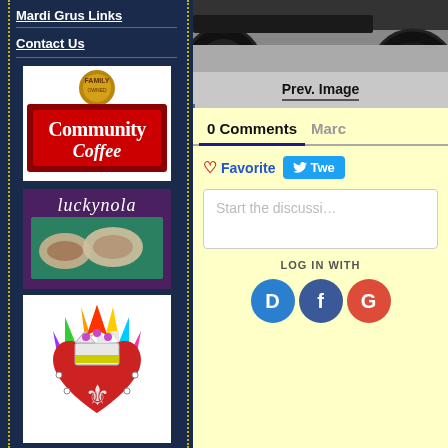Mardi Gras Links
Contact Us
[Figure (logo): Community Coffee brand logo — red background with gold emblem and white text reading 'Community Coffee']
[Figure (photo): Luckynola banner with decorative ceramic or cookie items on teal/green background with purple border, text 'luckynola' in stylized font]
[Figure (photo): Colorful Mardi Gras decorative art featuring a fleur-de-lis on a heart with crown and radiating colors]
[Figure (photo): Close-up photo of wheel/tire of a vehicle on pavement]
Prev. Image
0 Comments
Marc
Favorite
Twe
Start the discussi
LOG IN WITH